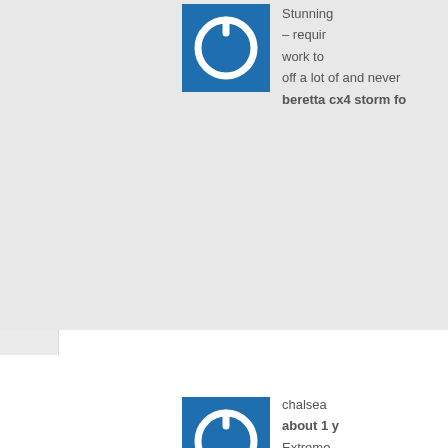[Figure (illustration): Blue square power button icon avatar - top comment]
Stunning – requir work to off a lot of and never beretta cx4 storm fo
[Figure (illustration): Blue square power button icon avatar - chalsea comment]
chalsea about 1 y Extreme post, ex adheren
[Figure (illustration): Blue square power button icon avatar - yousuf comment]
yousuf s about 1 y Black O played t yes, son <a href="http://google betting-strategies/">□□□